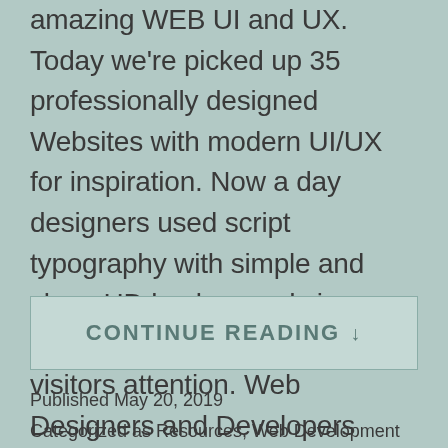amazing WEB UI and UX. Today we're picked up 35 professionally designed Websites with modern UI/UX for inspiration. Now a day designers used script typography with simple and clean HD backgrounds in website designing to get visitors attention. Web Designers and Developers must follow the new design trends. Creative ideas and modern trends…
CONTINUE READING ↓
Published May 20, 2019
Categorized as Resources, Web Development